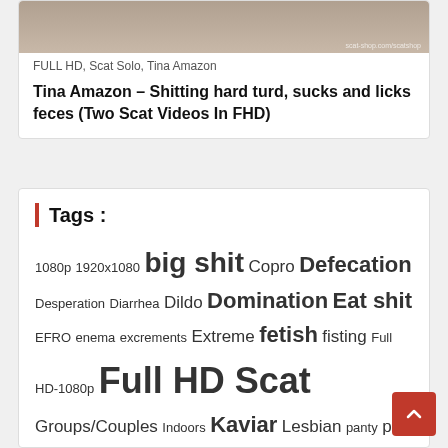FULL HD, Scat Solo, Tina Amazon
Tina Amazon – Shitting hard turd, sucks and licks feces (Two Scat Videos In FHD)
Tags :
1080p  1920x1080  big shit  Copro  Defecation  Desperation  Diarrhea  Dildo  Domination  Eat shit  EFRO  enema  excrements  Extreme  fetish  fisting  Full HD-1080p  Full HD Scat  Groups/Couples  Indoors  Kaviar  Lesbian  panty  pee  piss  Pissing  poop  Pooping  Poop Videos  Posing  Scat  Scatology  Scat Sex  Scatshop  shit  Shit Eating  Shitting  SMEARING  Solo  SPIT  Takefile  Takefile link